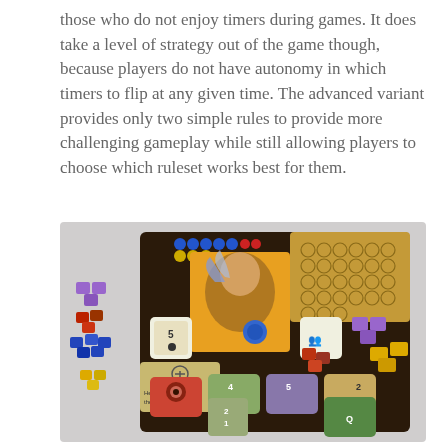those who do not enjoy timers during games. It does take a level of strategy out of the game though, because players do not have autonomy in which timers to flip at any given time. The advanced variant provides only two simple rules to provide more challenging gameplay while still allowing players to choose which ruleset works best for them.
[Figure (photo): A board game in progress showing a game board with colorful wooden cube pieces (purple, red, blue, yellow) scattered around and on the board. The board features various game cards, tokens, and a central illustrated character. Cards visible at bottom include action cards with numbers. Character card visible reads 'Hesoot, the Justicar'.]